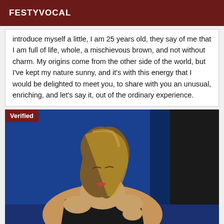FESTYVOCAL
introduce myself a little, I am 25 years old, they say of me that I am full of life, whole, a mischievous brown, and not without charm. My origins come from the other side of the world, but I've kept my nature sunny, and it's with this energy that I would be delighted to meet you, to share with you an unusual, enriching, and let's say it, out of the ordinary experience.
[Figure (photo): Verified photo of a young woman with blonde highlighted hair, wearing black lingerie, posed against a blue background with dark curtain.]